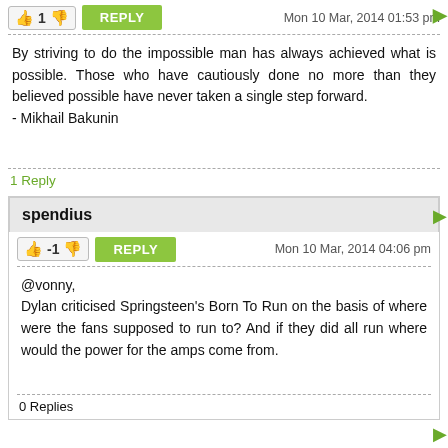1
Mon 10 Mar, 2014 01:53 pm
By striving to do the impossible man has always achieved what is possible. Those who have cautiously done no more than they believed possible have never taken a single step forward.
- Mikhail Bakunin
1 Reply
spendius
-1
Mon 10 Mar, 2014 04:06 pm
@vonny,
Dylan criticised Springsteen's Born To Run on the basis of where were the fans supposed to run to? And if they did all run where would the power for the amps come from.
0 Replies